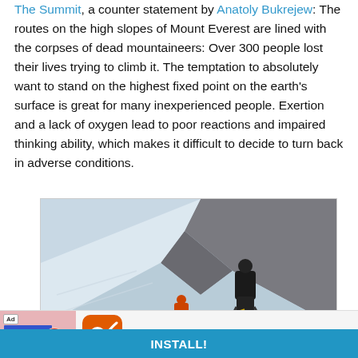The Summit, a counter statement by Anatoly Bukrejew. The routes on the high slopes of Mount Everest are lined with the corpses of dead mountaineers: Over 300 people lost their lives trying to climb it. The temptation to absolutely want to stand on the highest fixed point on the earth's surface is great for many inexperienced people. Exertion and a lack of oxygen lead to poor reactions and impaired thinking ability, which makes it difficult to decide to turn back in adverse conditions.
[Figure (photo): Mountaineers climbing steep snowy slopes of Mount Everest in heavy gear with backpacks, a rock face visible in the background]